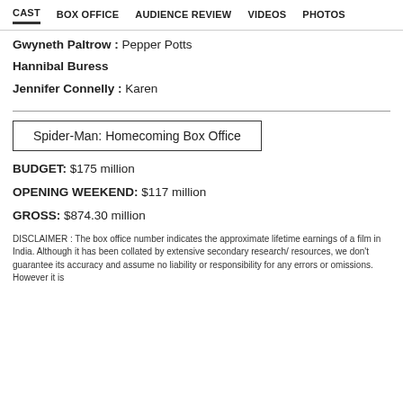CAST   BOX OFFICE   AUDIENCE REVIEW   VIDEOS   PHOTOS
Gwyneth Paltrow : Pepper Potts
Hannibal Buress
Jennifer Connelly : Karen
Spider-Man: Homecoming Box Office
BUDGET:  $175 million
OPENING WEEKEND:  $117 million
GROSS:  $874.30 million
DISCLAIMER : The box office number indicates the approximate lifetime earnings of a film in India. Although it has been collated by extensive secondary research/ resources, we don't guarantee its accuracy and assume no liability or responsibility for any errors or omissions. However it is